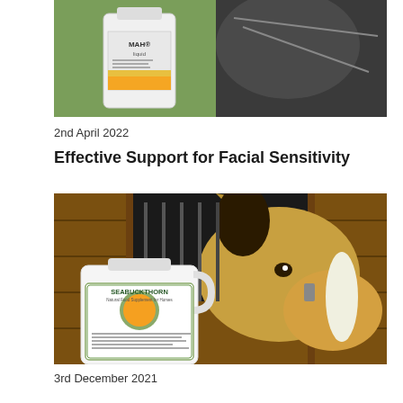[Figure (photo): Photo of a horse with a product bottle (MAH liquid) in foreground, green background outdoor setting]
2nd April 2022
Effective Support for Facial Sensitivity
[Figure (photo): Photo of a buckskin horse looking out of a stable door, with a large white container of SEABUCKTHORN supplement in the foreground]
3rd December 2021